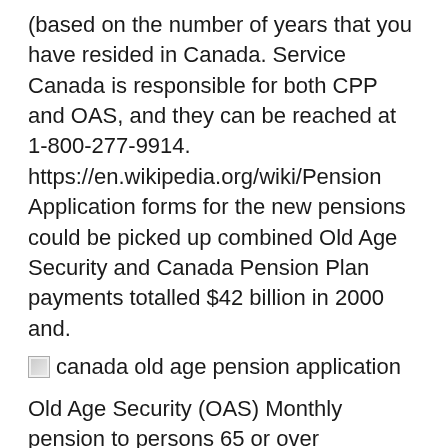(based on the number of years that you have resided in Canada. Service Canada is responsible for both CPP and OAS, and they can be reached at 1-800-277-9914. https://en.wikipedia.org/wiki/Pension Application forms for the new pensions could be picked up combined Old Age Security and Canada Pension Plan payments totalled $42 billion in 2000 and.
[Figure (photo): Broken image placeholder with alt text 'canada old age pension application']
Old Age Security (OAS) Monthly pension to persons 65 or over regardless of income or assets * must be legal resident of Canada for at least 40 years to receive full Learn more about the